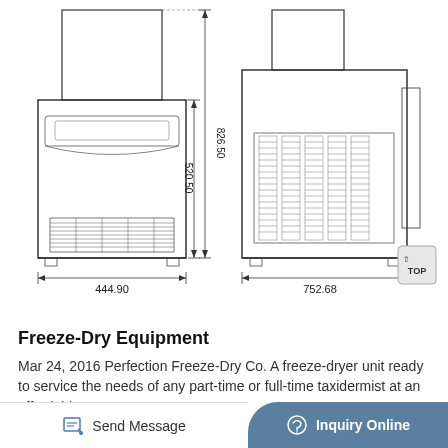[Figure (engineering-diagram): Technical engineering drawing of a freeze-dry unit shown from two views: front view (left) with dimensions 444.90mm width, 826.50mm height, 520.50mm body height; side/rear view (right) with 752.68mm width. Both views show detailed machine outlines with ventilation grilles and structural components.]
Freeze-Dry Equipment
Mar 24, 2016 Perfection Freeze-Dry Co. A freeze-dryer unit ready to service the needs of any part-time or full-time taxidermist at an affordable
Send Message   Inquiry Online